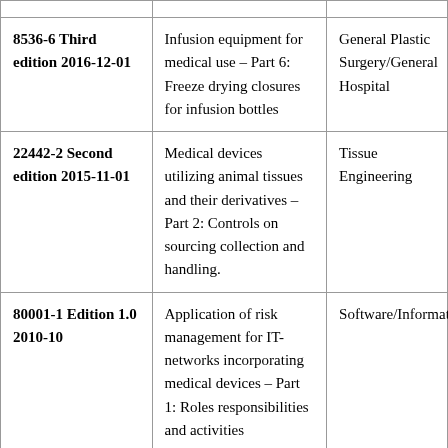|  |  |  |
| --- | --- | --- |
| 8536-6 Third edition 2016-12-01 | Infusion equipment for medical use – Part 6: Freeze drying closures for infusion bottles | General Plastic Surgery/General Hospital |
| 22442-2 Second edition 2015-11-01 | Medical devices utilizing animal tissues and their derivatives – Part 2: Controls on sourcing collection and handling. | Tissue Engineering |
| 80001-1 Edition 1.0 2010-10 | Application of risk management for IT-networks incorporating medical devices – Part 1: Roles responsibilities and activities | Software/Informatics |